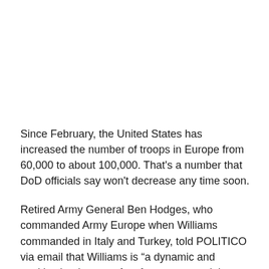Since February, the United States has increased the number of troops in Europe from 60,000 to about 100,000. That's a number that DoD officials say won't decrease any time soon.
Retired Army General Ben Hodges, who commanded Army Europe when Williams commanded in Italy and Turkey, told POLITICO via email that Williams is “a dynamic and positive leader… perfect for a command that spans all of Europe, from the Arctic to Turkey.”